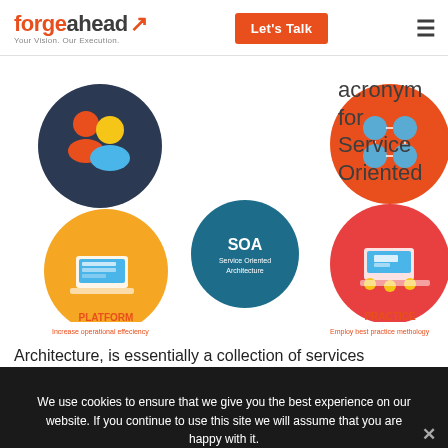[Figure (logo): Forgeahead logo with orange arrow icon and tagline 'Your Vision. Our Execution.']
[Figure (infographic): SOA diagram showing 5 circles: PEOPLE (Empower decision makers), SOA (Service Oriented Architecture), PROCESS (Align IT with business operations), PLATFORM (Increase operational effeciency), PRACTICE (Employ best practice methology). Right side text reads: acronym for Service Oriented]
Architecture, is essentially a collection of services
We use cookies to ensure that we give you the best experience on our website. If you continue to use this site we will assume that you are happy with it.
Ok
Privacy policy